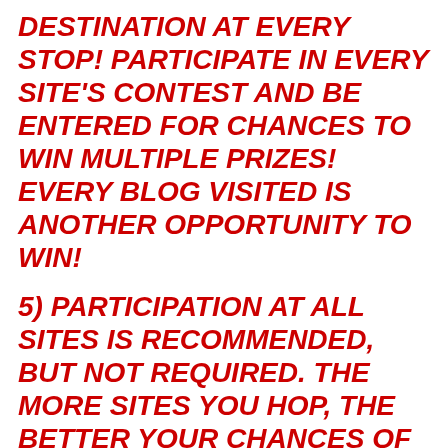DESTINATION AT EVERY STOP! PARTICIPATE IN EVERY SITE'S CONTEST AND BE ENTERED FOR CHANCES TO WIN MULTIPLE PRIZES! EVERY BLOG VISITED IS ANOTHER OPPORTUNITY TO WIN!
5) PARTICIPATION AT ALL SITES IS RECOMMENDED, BUT NOT REQUIRED. THE MORE SITES YOU HOP, THE BETTER YOUR CHANCES OF WINNING PRIZES.
6) DID I MENTION TO HAVE A SPOOKY FUN TIME?
***Authors have full discretion to